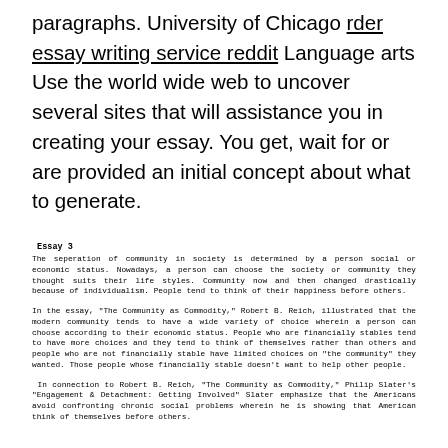paragraphs. University of Chicago rder essay writing service reddit Language arts Use the world wide web to uncover several sites that will assistance you in creating your essay. You get, wait for or are provided an initial concept about what to generate.
Essay 3
The seperation of community in society is determined by a person social or economic status. Nowadays, a person can choose the society or community they thought suits their life styles. Community now and then changed drastically because of individualism. People tend to think of their happiness before others.
In the essay, "The Community as Commodity," Robert B. Reich, illustrated that the modern community tends to have a wide variety of choice wherein a person can choose according to their economic status. People who are financially stables tend to have more choices and they tend to think of themselves rather than others and people who are not financially stable have limited choices on "the community" they wanted. Those people whose financially stable doesn't want to help other people.
In connection to Robert B. Reich, "The Community as Commodity," Philip Slater's "Engagement & Detachment: Getting Involved" Slater emphasize that the Americans avoid confronting chronic social problems wherein he is showing that American think of themselves before others.
Essay 4
Most people want to get married and have children. Perhaps they want to leave a trace or offspring after them, so that they become somehow "immortal". And it is commonly said that children are the ultimate bliss in our lives. Although many people agree with this statement, to my mind, it is not true.
Firstly, it is always claimed that having children brings happiness and meaning to one's life. To raise them well becomes an ideal for parents. However, I think that although this may be true, children are also a financial and psychological burden for parents. To have children is to have responsibility. Parents spend all their time and money on their children, for their education, clothing and other needs, and do not have much time or money left for themselves.